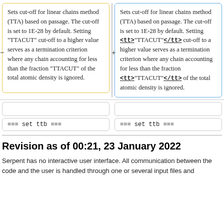Sets cut-off for linear chains method (TTA) based on passage. The cut-off is set to 1E-28 by default. Setting "TTACUT" cut-off to a higher value serves as a termination criterion where any chain accounting for less than the fraction "TTACUT" of the total atomic density is ignored.
Sets cut-off for linear chains method (TTA) based on passage. The cut-off is set to 1E-28 by default. Setting <tt>"TTACUT"</tt></tt> cut-off to a higher value serves as a termination criterion where any chain accounting for less than the fraction <tt>"TTACUT"</tt></tt> of the total atomic density is ignored.
=== set ttb ===
=== set ttb ===
Revision as of 00:21, 23 January 2022
Serpent has no interactive user interface. All communication between the code and the user is handled through one or several input files and